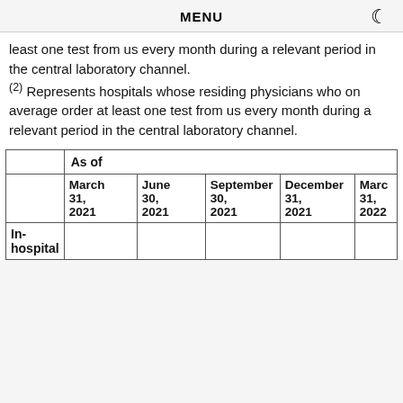MENU
least one test from us every month during a relevant period in the central laboratory channel. (2) Represents hospitals whose residing physicians who on average order at least one test from us every month during a relevant period in the central laboratory channel.
|  | As of |  |  |  |  |
| --- | --- | --- | --- | --- | --- |
|  | March 31, 2021 | June 30, 2021 | September 30, 2021 | December 31, 2021 | March 31, 2022 |
| In-hospital |  |  |  |  |  |